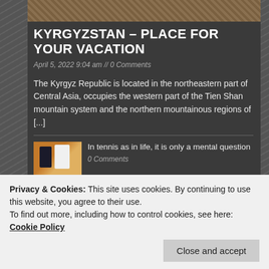[Figure (photo): Top partial photo of outdoor landscape, partially cropped]
KYRGYZSTAN – PLACE FOR YOUR VACATION
April 5, 2022 9:04 am // 0 Comments
The Kyrgyz Republic is located in the northeastern part of Central Asia, occupies the western part of the Tien Shan mountain system and the northern mountainous regions of [...]
[Figure (photo): Thumbnail photo of people on a tennis court]
In tennis as in life, it is only a mental question
0 Comments
[Figure (photo): Thumbnail photo of scenic blossoming landscape in China]
China Focus: More scenic attractions reopen as tourism picks up in China
Privacy & Cookies: This site uses cookies. By continuing to use this website, you agree to their use.
To find out more, including how to control cookies, see here: Cookie Policy
Close and accept